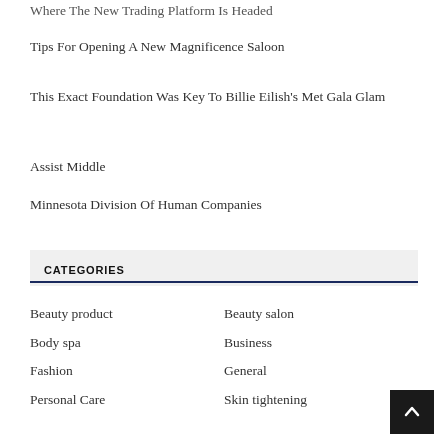Where The New Trading Platform Is Headed
Tips For Opening A New Magnificence Saloon
This Exact Foundation Was Key To Billie Eilish's Met Gala Glam
Assist Middle
Minnesota Division Of Human Companies
CATEGORIES
Beauty product
Beauty salon
Body spa
Business
Fashion
General
Personal Care
Skin tightening